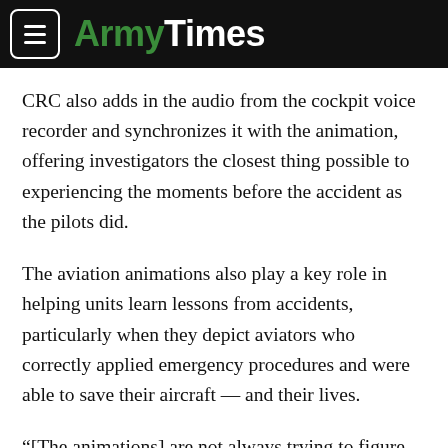ArmyTimes
CRC also adds in the audio from the cockpit voice recorder and synchronizes it with the animation, offering investigators the closest thing possible to experiencing the moments before the accident as the pilots did.
The aviation animations also play a key role in helping units learn lessons from accidents, particularly when they depict aviators who correctly applied emergency procedures and were able to save their aircraft — and their lives.
“[The animations] are not always trying to figure out a smoking hole,” said Schwegler, the CRC’s director of operations. “It’s [about] our ability to take data from these aircraft and turn it into